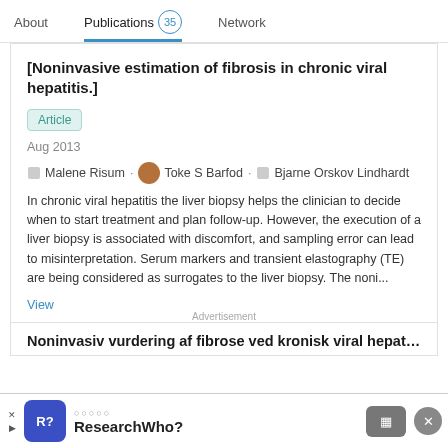About   Publications 35   Network
[Noninvasive estimation of fibrosis in chronic viral hepatitis.]
Article
Aug 2013
Malene Risum · Toke S Barfod · Bjarne Orskov Lindhardt
In chronic viral hepatitis the liver biopsy helps the clinician to decide when to start treatment and plan follow-up. However, the execution of a liver biopsy is associated with discomfort, and sampling error can lead to misinterpretation. Serum markers and transient elastography (TE) are being considered as surrogates to the liver biopsy. The noni...
View
Noninvasiv vurdering af fibrose ved kronisk viral hepatitis
Advertisement
ResearchwWho?